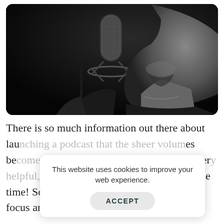[Figure (photo): Black and white photo of a man singing or speaking into a large condenser studio microphone, close-up of his jaw and neck, dark background]
There is so much information out there about launching a podcast that the sheer volume can be overwhelming. The information is very helpful, but it can be contradictory at the same time! So now do you decide whether all your focus and attention should be on the
This website uses cookies to improve your web experience.
ACCEPT